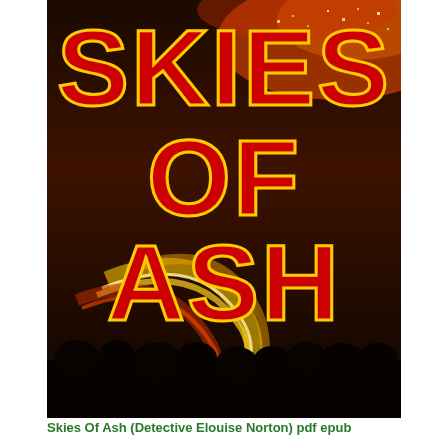[Figure (illustration): Book cover of 'Skies Of Ash' (Detective Elouise Norton) showing bold red and yellow title text over a nighttime cityscape with streaks of light and a dark sky.]
Skies Of Ash (Detective Elouise Norton) pdf epub
[Figure (illustration): Partial book cover of 'Understanding Love' (or similar title) showing a tan/parchment background with an ornamental divider and large white serif text 'UNDERSTANDING' and the beginning of the next word 'Love' in a different style, with a dark maroon header bar.]